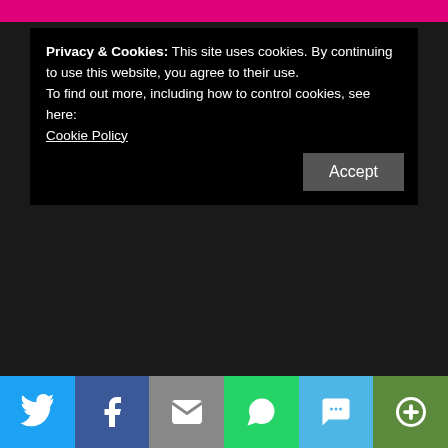Privacy & Cookies: This site uses cookies. By continuing to use this website, you agree to their use.
To find out more, including how to control cookies, see here: Cookie Policy
Accept
Statements and opinions expressed in reviews, discussions, and posts on this blog are those of the owner of I am, Indeed, unless otherwise stated.
Authors, Publishers and Tour companies may provide an ARC, Galley, or finished copy for review consideration, although no expectations are implied.
All reviews will state the source for material provided